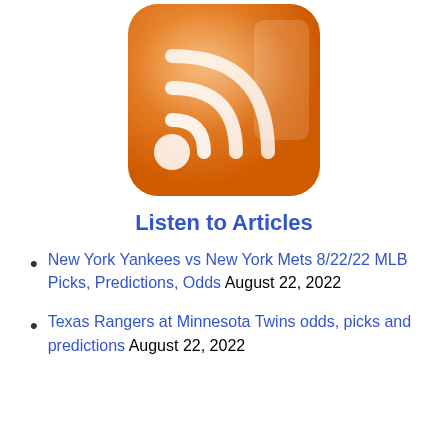[Figure (logo): RSS feed icon — orange rounded square with white RSS signal arcs and dot]
Listen to Articles
New York Yankees vs New York Mets 8/22/22 MLB Picks, Predictions, Odds August 22, 2022
Texas Rangers at Minnesota Twins odds, picks and predictions August 22, 2022